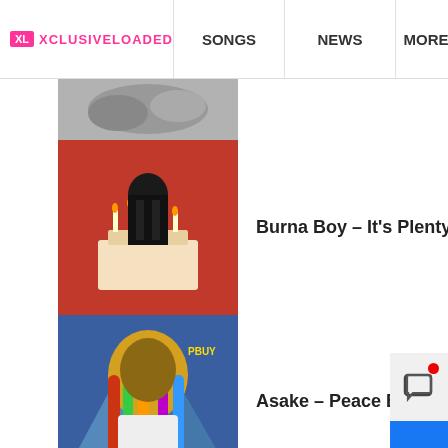XL XCLUSIVELOADED | SONGS | NEWS | MORE
[Figure (screenshot): Partially visible thumbnail at top]
Burna Boy – It's Plenty
Asake – Peace Be Unto You
Asake – Terminator
Fireboy DML – Bandana Ft. Asake
Joeboy – Contour